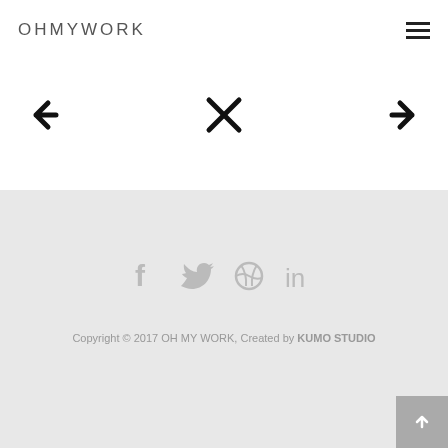OHMYWORK
[Figure (other): Navigation arrows (left arrow, X close button, right arrow) for portfolio navigation]
[Figure (other): Social media icons: Facebook, Twitter, Dribbble, LinkedIn]
Copyright © 2017 OH MY WORK, Created by KUMO STUDIO